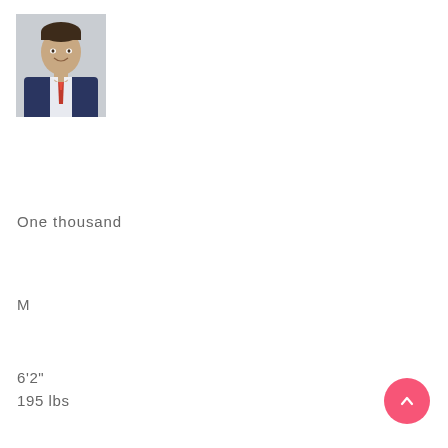[Figure (photo): Headshot photo of a young man in a dark navy suit with white shirt and red tie, smiling, against a light gray background.]
One thousand
M
6'2"
195 lbs